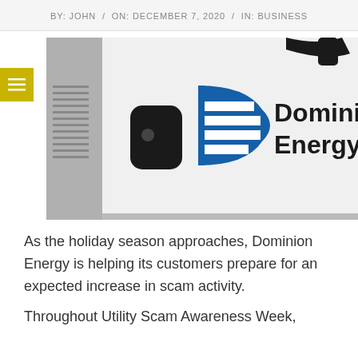BY: JOHN / ON: DECEMBER 7, 2020 / IN: BUSINESS
[Figure (photo): Dominion Energy logo on the side of a white utility truck. The logo shows a blue 'D' shape with horizontal white stripes, next to the text 'Dominion Energy' in bold black letters.]
As the holiday season approaches, Dominion Energy is helping its customers prepare for an expected increase in scam activity.
Throughout Utility Scam Awareness Week,